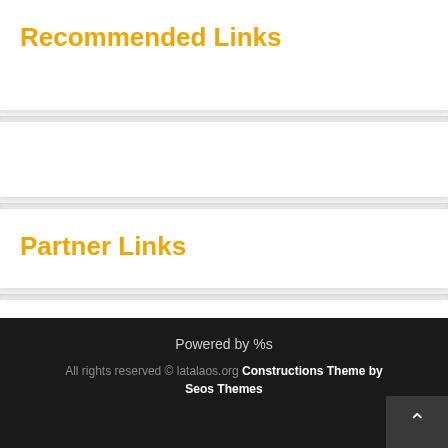Recommended Links
Partner Links
Visit
Health Care Lawyer
Powered by %s
All rights reserved © latalaos.org Constructions Theme by Seos Themes